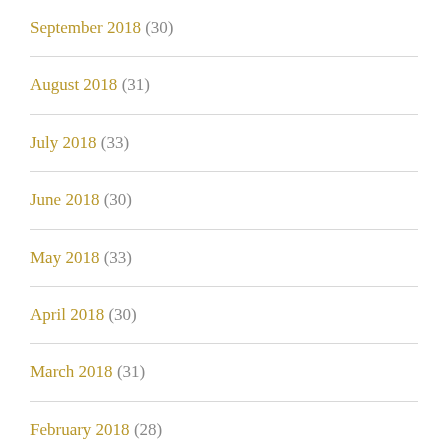September 2018 (30)
August 2018 (31)
July 2018 (33)
June 2018 (30)
May 2018 (33)
April 2018 (30)
March 2018 (31)
February 2018 (28)